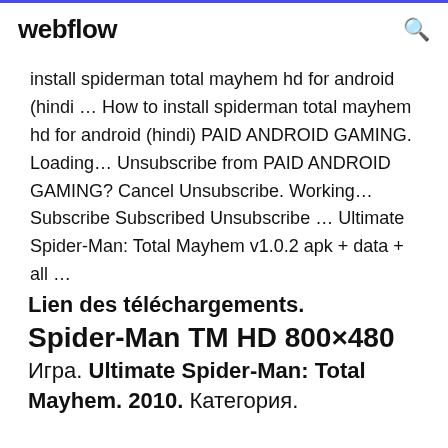webflow
install spiderman total mayhem hd for android (hindi ... How to install spiderman total mayhem hd for android (hindi) PAID ANDROID GAMING. Loading... Unsubscribe from PAID ANDROID GAMING? Cancel Unsubscribe. Working... Subscribe Subscribed Unsubscribe ... Ultimate Spider-Man: Total Mayhem v1.0.2 apk + data + all ...
Lien des téléchargements. Spider-Man TM HD 800×480 Игра. Ultimate Spider-Man: Total Mayhem. 2010. Категория.